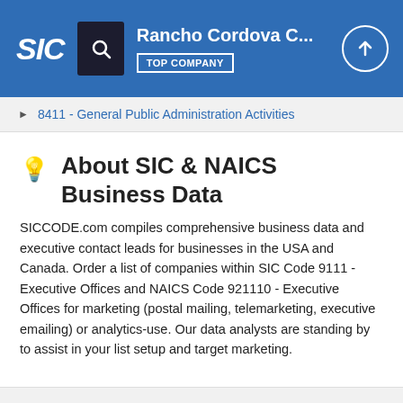SIC | Rancho Cordova C... | TOP COMPANY
8411 - General Public Administration Activities
About SIC & NAICS Business Data
SICCODE.com compiles comprehensive business data and executive contact leads for businesses in the USA and Canada. Order a list of companies within SIC Code 9111 - Executive Offices and NAICS Code 921110 - Executive Offices for marketing (postal mailing, telemarketing, executive emailing) or analytics-use. Our data analysts are standing by to assist in your list setup and target marketing.